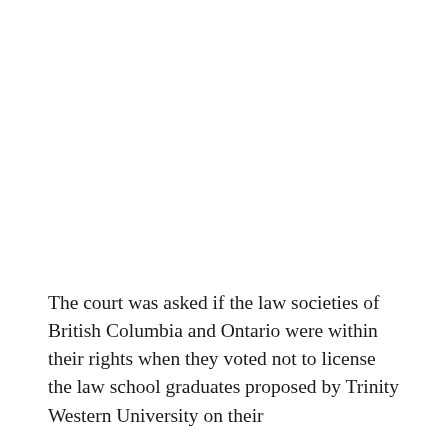The court was asked if the law societies of British Columbia and Ontario were within their rights when they voted not to license the law school graduates proposed by Trinity Western University on their